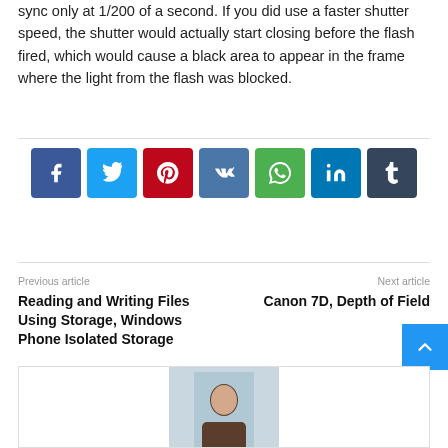sync only at 1/200 of a second. If you did use a faster shutter speed, the shutter would actually start closing before the flash fired, which would cause a black area to appear in the frame where the light from the flash was blocked.
[Figure (infographic): Row of social media share buttons: Facebook (blue), Twitter (cyan), Pinterest (red), VK (dark blue), WhatsApp (green), LinkedIn (blue), Tumblr (dark slate)]
Previous article
Next article
Reading and Writing Files Using Storage, Windows Phone Isolated Storage
Canon 7D, Depth of Field
[Figure (photo): Author photo showing a person's head and shoulders, partially visible at bottom of page]